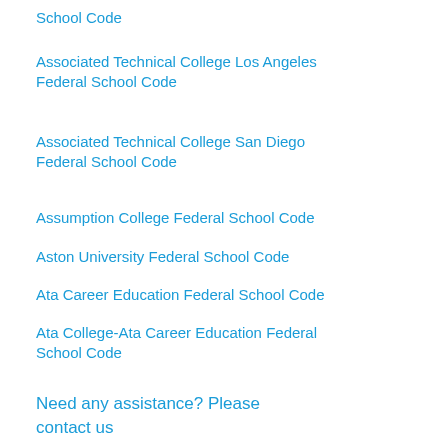School Code
Associated Technical College Los Angeles Federal School Code
Associated Technical College San Diego Federal School Code
Assumption College Federal School Code
Aston University Federal School Code
Ata Career Education Federal School Code
Ata College-Ata Career Education Federal School Code
Need any assistance? Please contact us